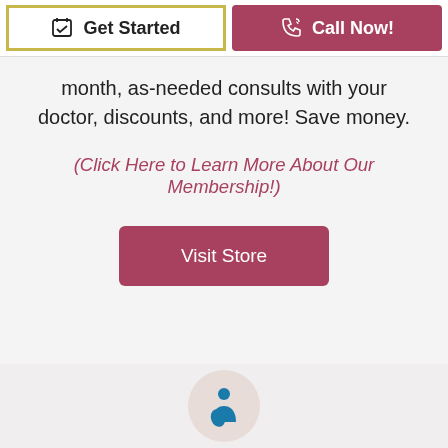Get Started
Call Now!
month, as-needed consults with your doctor, discounts, and more! Save money.
(Click Here to Learn More About Our Membership!)
Visit Store
[Figure (logo): A circular logo with a teal/blue figure icon representing a medical or care-related brand.]